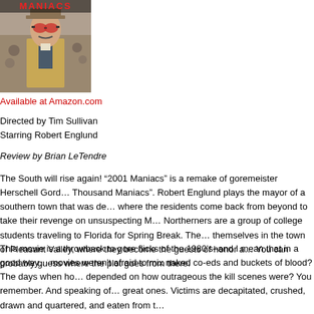[Figure (photo): Movie poster for '2001 Maniacs' showing a man in a tweed jacket with sunglasses and a hat, with a crowd in the background. Red text at top reads 'MANIACS'.]
Available at Amazon.com
Directed by Tim Sullivan
Starring Robert Englund
Review by Brian LeTendre
The South will rise again! "2001 Maniacs" is a remake of goremeister Herschell Gord... Thousand Maniacs". Robert Englund plays the mayor of a southern town that was de... where the residents come back from beyond to take their revenge on unsuspecting M... Northerners are a group of college students traveling to Florida for Spring Break. The... themselves in the town of Pleasant Valley, where they become the guests of honor a... You can probably guess where the plot goes from there.
This movie is a throwback to gore flicks of the 1980's–and I mean that in a good way... movies weren't afraid to mix naked co-eds and buckets of blood? The days when ho... depended on how outrageous the kill scenes were? You remember. And speaking of... great ones. Victims are decapitated, crushed, drawn and quartered, and eaten from t...